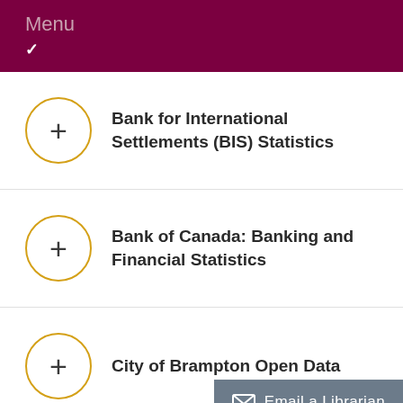Menu
Bank for International Settlements (BIS) Statistics
Bank of Canada: Banking and Financial Statistics
City of Brampton Open Data
Email a Librarian